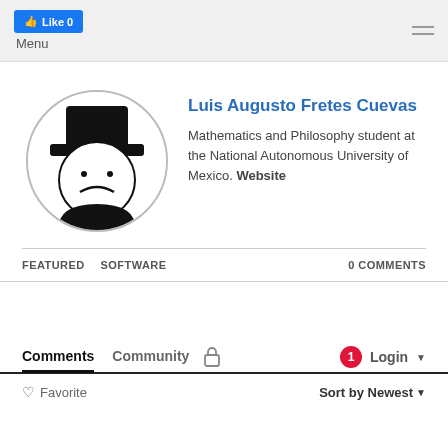Like 0  Menu
[Figure (illustration): Circular avatar with a cartoon face wearing a top hat, black and white illustration]
Luis Augusto Fretes Cuevas
Mathematics and Philosophy student at the National Autonomous University of Mexico. Website
FEATURED   SOFTWARE   0 COMMENTS
Comments   Community   🔒   1   Login ▾
♡ Favorite   Sort by Newest ▾